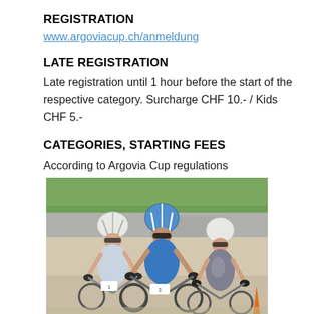REGISTRATION
www.argoviacup.ch/anmeldung
LATE REGISTRATION
Late registration until 1 hour before the start of the respective category. Surcharge CHF 10.- / Kids CHF 5.-
CATEGORIES, STARTING FEES
According to Argovia Cup regulations
[Figure (photo): Three mountain bike cyclists racing, wearing helmets and cycling gear, with trees and buildings visible in the background. Cyclist on left wears white helmet, center cyclist wears blue helmet, right cyclist wears white helmet.]